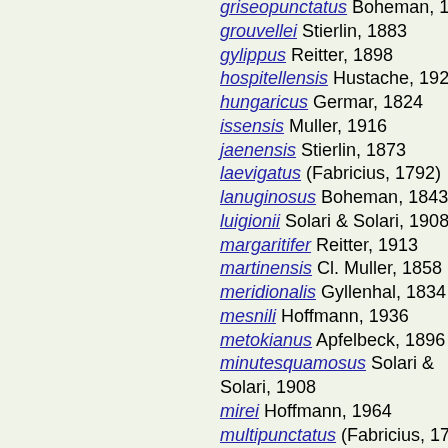griseopunctatus Boheman, 1843
grouvellei Stierlin, 1883
gylippus Reitter, 1898
hospitellensis Hustache, 1923
hungaricus Germar, 1824
issensis Muller, 1916
jaenensis Stierlin, 1873
laevigatus (Fabricius, 1792)
lanuginosus Boheman, 1843
luigionii Solari & Solari, 1908
margaritifer Reitter, 1913
martinensis Cl. Muller, 1858
meridionalis Gyllenhal, 1834
mesnili Hoffmann, 1936
metokianus Apfelbeck, 1896
minutesquamosus Solari & Solari, 1908
mirei Hoffmann, 1964
multipunctatus (Fabricius, 1792)
orientalis Gyllenhal, 1834
osellai Magnano, 1969
pajarensis Reitter, 1913
paradisiacus Pesarini, 1968
pyrenaeus Gyllenhal, 1834
repletus Boheman, 1843
rhousensis (Germar, 1822)